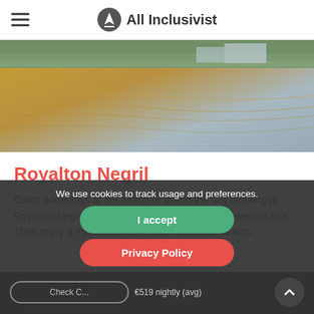All Inclusivist
[Figure (photo): Beach/water scene at Royalton Negril resort, showing sunlit water with resort buildings and trees in background]
Royalton Negril
Catch some rays at the beach or spend the day relaxing at Royalton Negril Resort & Spa - All Inclusive's full-service spa. Then enjoy a meal at one of the hotel's 8 restaurants.
We use cookies to track usage and preferences.
I accept
Privacy Policy